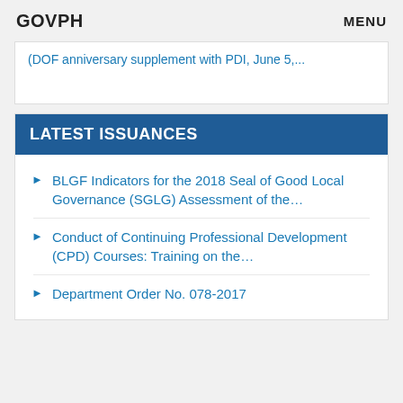GOVPH   MENU
(DOF anniversary supplement with PDI, June 5,...
LATEST ISSUANCES
BLGF Indicators for the 2018 Seal of Good Local Governance (SGLG) Assessment of the…
Conduct of Continuing Professional Development (CPD) Courses: Training on the…
Department Order No. 078-2017